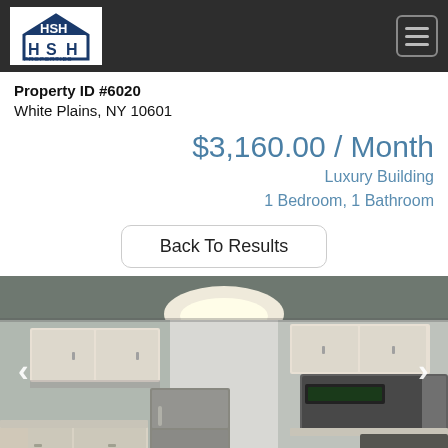[Figure (logo): HSH Properties logo in white box on dark header bar]
Property ID #6020
White Plains, NY 10601
$3,160.00 / Month
Luxury Building
1 Bedroom, 1 Bathroom
Back To Results
[Figure (photo): Interior kitchen photo showing white cabinets, stainless steel refrigerator, microwave, overhead lighting, and granite countertops]